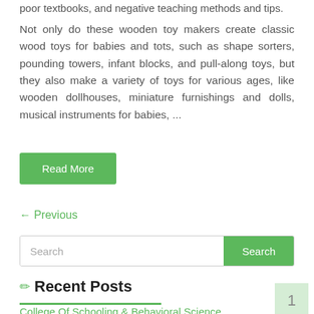poor textbooks, and negative teaching methods and tips.
Not only do these wooden toy makers create classic wood toys for babies and tots, such as shape sorters, pounding towers, infant blocks, and pull-along toys, but they also make a variety of toys for various ages, like wooden dollhouses, miniature furnishings and dolls, musical instruments for babies, ...
Read More
← Previous
Search
Recent Posts
College Of Schooling & Behavioral Science